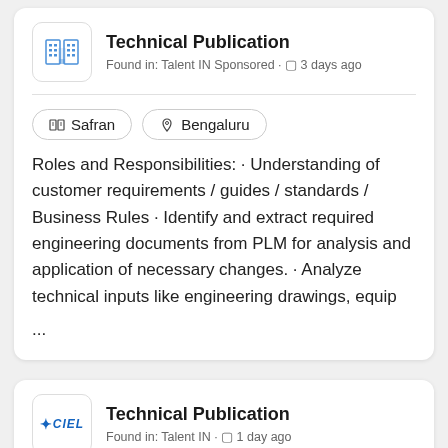Technical Publication
Found in: Talent IN Sponsored · 3 days ago
Safran
Bengaluru
Roles and Responsibilities: · Understanding of customer requirements / guides / standards / Business Rules · Identify and extract required engineering documents from PLM for analysis and application of necessary changes. · Analyze technical inputs like engineering drawings, equip
...
Technical Publication
Found in: Talent IN · 1 day ago